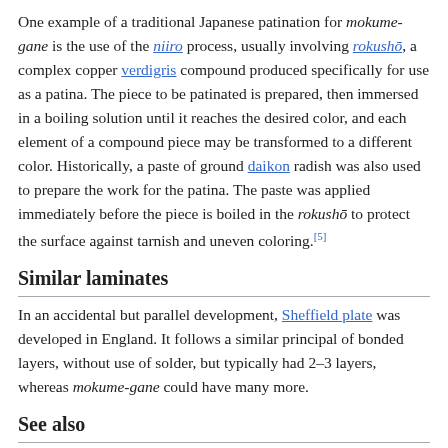One example of a traditional Japanese patination for mokume-gane is the use of the niiro process, usually involving rokushō, a complex copper verdigris compound produced specifically for use as a patina. The piece to be patinated is prepared, then immersed in a boiling solution until it reaches the desired color, and each element of a compound piece may be transformed to a different color. Historically, a paste of ground daikon radish was also used to prepare the work for the patina. The paste was applied immediately before the piece is boiled in the rokushō to protect the surface against tarnish and uneven coloring.[5]
Similar laminates
In an accidental but parallel development, Sheffield plate was developed in England. It follows a similar principal of bonded layers, without use of solder, but typically had 2–3 layers, whereas mokume-gane could have many more.
See also
Mokume-gane titanium rings – Jewelry rings or bands mainly of titanium
Pattern welding – Swordmaking technique